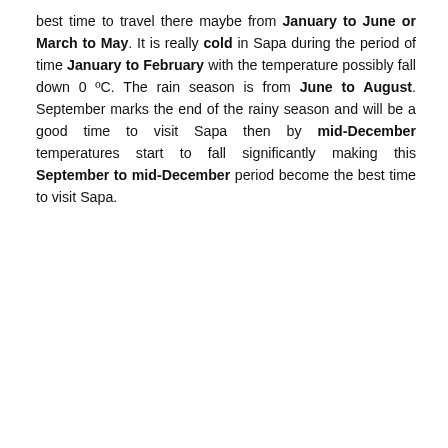best time to travel there maybe from January to June or March to May. It is really cold in Sapa during the period of time January to February with the temperature possibly fall down 0 ºC. The rain season is from June to August. September marks the end of the rainy season and will be a good time to visit Sapa then by mid-December temperatures start to fall significantly making this September to mid-December period become the best time to visit Sapa.